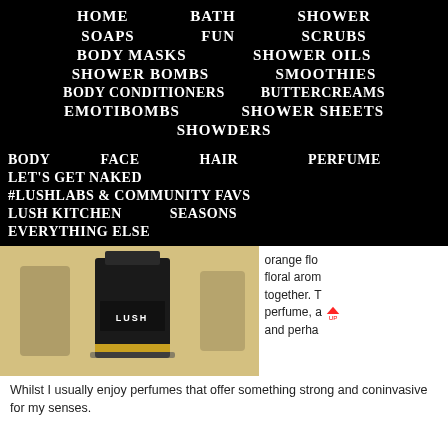HOME   BATH   SHOWER
SOAPS   FUN   SCRUBS
BODY MASKS   SHOWER OILS
SHOWER BOMBS   SMOOTHIES
BODY CONDITIONERS   BUTTERCREAMS
EMOTIBOMBS   SHOWER SHEETS
SHOWDERS
BODY   FACE   HAIR   PERFUME
LET'S GET NAKED
#LUSHLABS & COMMUNITY FAVS
LUSH KITCHEN   SEASONS
EVERYTHING ELSE
[Figure (photo): A Lush perfume bottle with black cap and label reading LUSH, on a warm beige background with other bottles behind it]
orange flo... floral arom... together. T... perfume, a... and perha...
Whilst I usually enjoy perfumes that offer something strong and con... invasive for my senses.